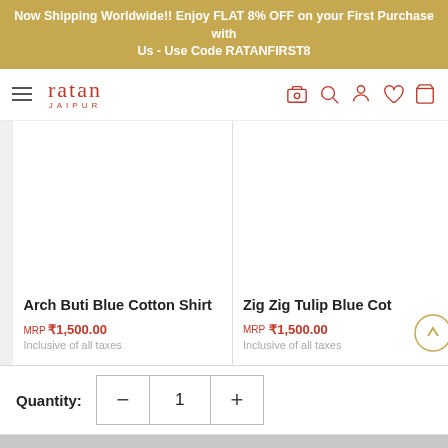Now Shipping Worldwide!! Enjoy FLAT 8% OFF on your First Purchase with Us - Use Code RATANFIRST8
[Figure (logo): Ratan Jaipur logo with hamburger menu and navigation icons (camera, search, account, wishlist, cart)]
[Figure (photo): Product listing card: Arch Buti Blue Cotton Shirt, MRP ₹1,500.00, Inclusive of all taxes]
[Figure (photo): Product listing card (partially visible): Zig Zig Tulip Blue Cot..., MRP ₹1,500.00, Inclusive of all taxes, with scroll-to-top button]
Quantity:
1
Sold out